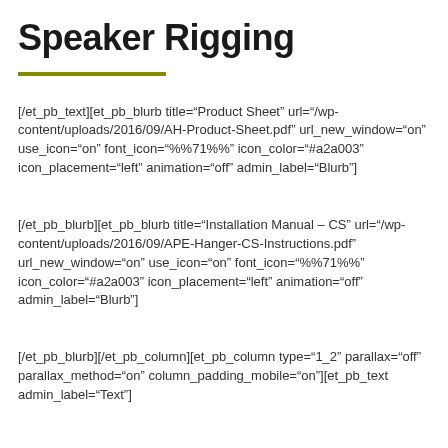Speaker Rigging
[/et_pb_text][et_pb_blurb title="Product Sheet" url="/wp-content/uploads/2016/09/AH-Product-Sheet.pdf" url_new_window="on" use_icon="on" font_icon="%%71%%" icon_color="#a2a003" icon_placement="left" animation="off" admin_label="Blurb"]
[/et_pb_blurb][et_pb_blurb title="Installation Manual – CS" url="/wp-content/uploads/2016/09/APE-Hanger-CS-Instructions.pdf" url_new_window="on" use_icon="on" font_icon="%%71%%" icon_color="#a2a003" icon_placement="left" animation="off" admin_label="Blurb"]
[/et_pb_blurb][/et_pb_column][et_pb_column type="1_2" parallax="off" parallax_method="on" column_padding_mobile="on"][et_pb_text admin_label="Text"]